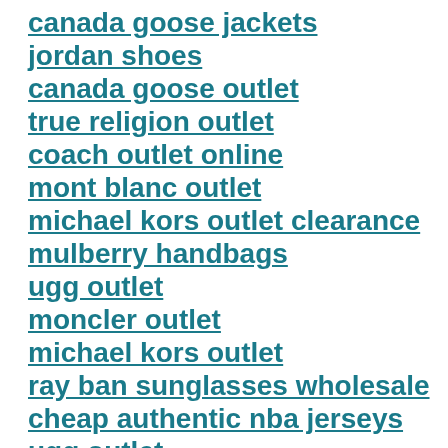canada goose jackets
jordan shoes
canada goose outlet
true religion outlet
coach outlet online
mont blanc outlet
michael kors outlet clearance
mulberry handbags
ugg outlet
moncler outlet
michael kors outlet
ray ban sunglasses wholesale
cheap authentic nba jerseys
ugg outlet
oakley sunglasses wholesale
ralph lauren polo shirts
cheap jordans